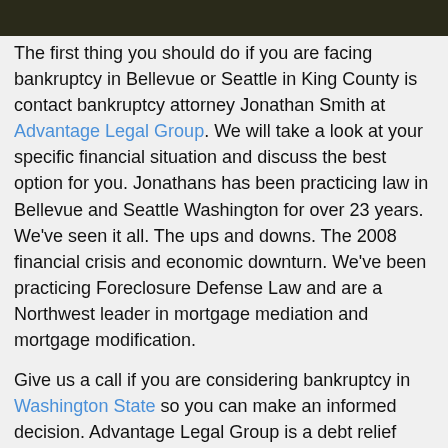[Figure (photo): Dark photo strip at top of page showing trees/outdoor scene]
The first thing you should do if you are facing bankruptcy in Bellevue or Seattle in King County is contact bankruptcy attorney Jonathan Smith at Advantage Legal Group. We will take a look at your specific financial situation and discuss the best option for you. Jonathans has been practicing law in Bellevue and Seattle Washington for over 23 years. We've seen it all. The ups and downs. The 2008 financial crisis and economic downturn. We've been practicing Foreclosure Defense Law and are a Northwest leader in mortgage mediation and mortgage modification.
Give us a call if you are considering bankruptcy in Washington State so you can make an informed decision. Advantage Legal Group is a debt relief agency helping Bellevue and Seattle residents with bankruptcy, foreclosure defense, mortgage mediation, and mortgage modification for 23 years in the Northwest.
If you are facing foreclosure on your Bellevue or Seattle area home in Washington State, bankruptcy may or may not be the best option. As an experienced Foreclosure Defense Law Firm in